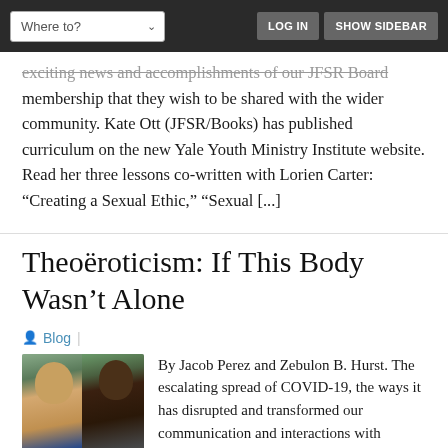Where to? | LOGIN | SHOW SIDEBAR
exciting news and accomplishments of our JFSR Board membership that they wish to be shared with the wider community. Kate Ott (JFSR/Books) has published curriculum on the new Yale Youth Ministry Institute website. Read her three lessons co-written with Lorien Carter: “Creating a Sexual Ethic,” “Sexual [...]
Theoëroticism: If This Body Wasn’t Alone
Blog
By Jacob Perez and Zebulon B. Hurst. The escalating spread of COVID-19, the ways it has disrupted and transformed our communication and interactions with